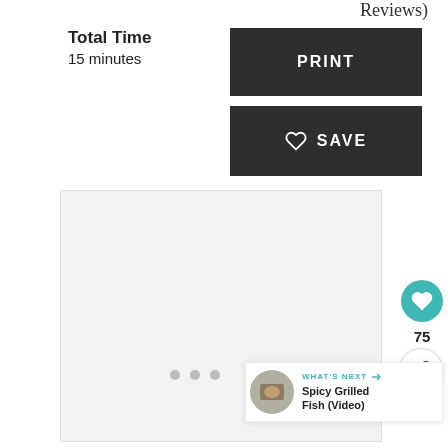Reviews)
Total Time
15 minutes
[Figure (other): Dark button labeled PRINT]
[Figure (other): Dark button with heart icon labeled SAVE]
[Figure (photo): Large image placeholder with light gray background]
[Figure (other): Three pagination dots]
[Figure (other): Floating teal heart button with count 75 and share button]
75
WHAT'S NEXT → Spicy Grilled Fish (Video)